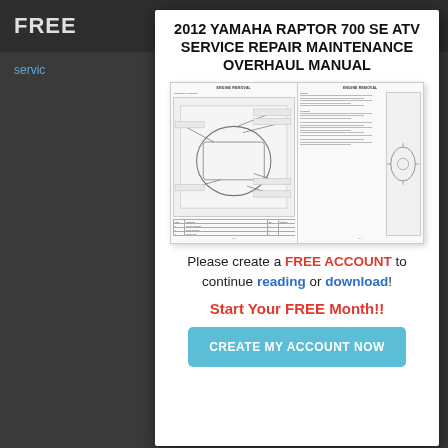FREE
2012 YAMAHA RAPTOR 700 SE ATV SERVICE REPAIR MAINTENANCE OVERHAUL MANUAL
[Figure (screenshot): Preview of two pages from the Yamaha Raptor 700 SE ATV service manual showing engine removal diagrams, parts tables, and service text]
Please create a FREE ACCOUNT to continue reading or download!
Start Your FREE Month!!
CREATE MY ACCOUNT NOW